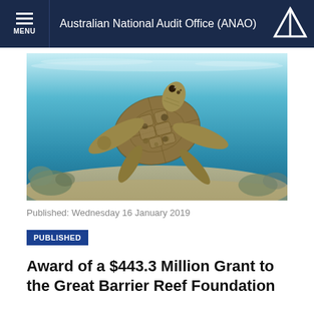Australian National Audit Office (ANAO)
[Figure (photo): Underwater photo of a sea turtle swimming above coral reef with blue water background]
Published: Wednesday 16 January 2019
PUBLISHED
Award of a $443.3 Million Grant to the Great Barrier Reef Foundation